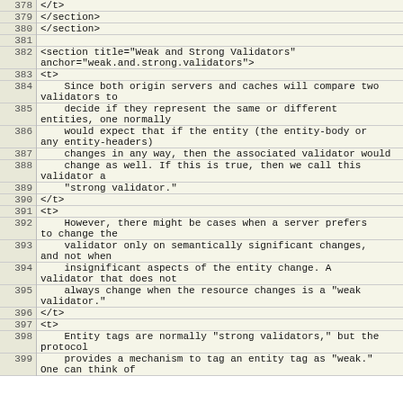| line | code |
| --- | --- |
| 378 | </t> |
| 379 | </section> |
| 380 | </section> |
| 381 |  |
| 382 | <section title="Weak and Strong Validators" anchor="weak.and.strong.validators"> |
| 383 | <t> |
| 384 |    Since both origin servers and caches will compare two validators to |
| 385 |    decide if they represent the same or different entities, one normally |
| 386 |    would expect that if the entity (the entity-body or any entity-headers) |
| 387 |    changes in any way, then the associated validator would |
| 388 |    change as well. If this is true, then we call this validator a |
| 389 |    "strong validator." |
| 390 | </t> |
| 391 | <t> |
| 392 |    However, there might be cases when a server prefers to change the |
| 393 |    validator only on semantically significant changes, and not when |
| 394 |    insignificant aspects of the entity change. A validator that does not |
| 395 |    always change when the resource changes is a "weak validator." |
| 396 | </t> |
| 397 | <t> |
| 398 |    Entity tags are normally "strong validators," but the protocol |
| 399 |    provides a mechanism to tag an entity tag as "weak." One can think of |